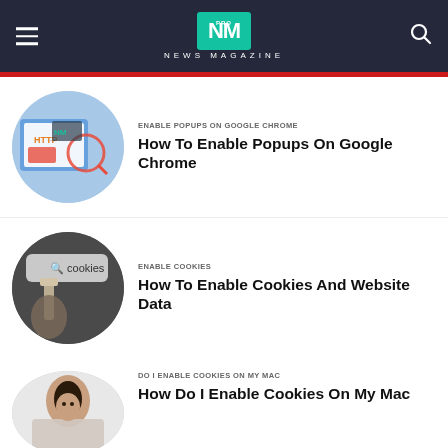NM PRO NEWS MAGAZINE
[Figure (screenshot): Circular thumbnail showing HTTP/web browser icons with a magnifying glass and lock icon]
ENABLE POPUPS ON GOOGLE CHROME
How To Enable Popups On Google Chrome
[Figure (photo): Circular thumbnail showing a person pointing at a browser bar with 'cookies' text]
ENABLE COOKIES
How To Enable Cookies And Website Data
[Figure (photo): Circular thumbnail showing a woman with short hair looking contemplative]
DO I ENABLE COOKIES ON MY MAC
How Do I Enable Cookies On My Mac